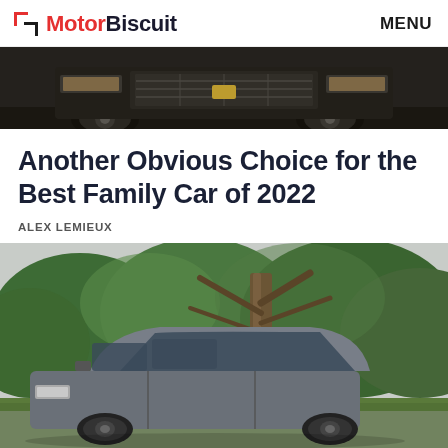MotorBiscuit  MENU
[Figure (photo): Close-up front view of a dark-colored truck/SUV (likely a GMC or similar), showing lower grille, wheels and front bumper area against a blurred background.]
Another Obvious Choice for the Best Family Car of 2022
ALEX LEMIEUX
[Figure (photo): A gray/silver SUV (Honda CR-V or similar family SUV) parked outdoors with green trees and a large tree trunk visible in the background, overcast sky.]